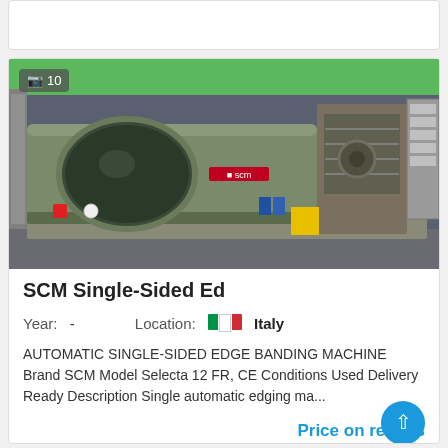[Figure (photo): SCM Single-Sided Edge Banding Machine (model Selecta 12 FR) in a workshop, showing olive-green machine body with circular window, open right side panel, and control cabinet. Green stripe visible at top of machine background wall.]
SCM Single-Sided Ed
Year:  -                    Location:  🇮🇹 Italy
AUTOMATIC SINGLE-SIDED EDGE BANDING MACHINE Brand SCM Model Selecta 12 FR, CE Conditions Used Delivery Ready Description Single automatic edging ma...
Price on reques